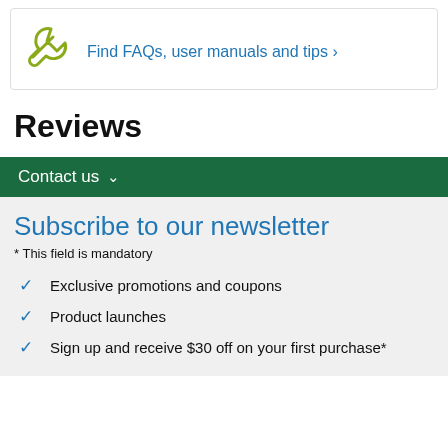[Figure (illustration): Wrench/spanner tool icon in olive/yellow-green color with link: Find FAQs, user manuals and tips]
Find FAQs, user manuals and tips ›
Reviews
Contact us ∨
Subscribe to our newsletter
* This field is mandatory
Exclusive promotions and coupons
Product launches
Sign up and receive $30 off on your first purchase*